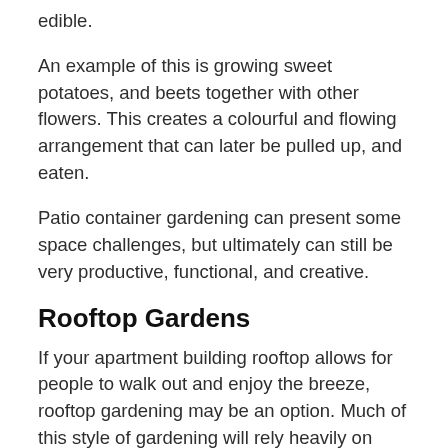edible.
An example of this is growing sweet potatoes, and beets together with other flowers. This creates a colourful and flowing arrangement that can later be pulled up, and eaten.
Patio container gardening can present some space challenges, but ultimately can still be very productive, functional, and creative.
Rooftop Gardens
If your apartment building rooftop allows for people to walk out and enjoy the breeze, rooftop gardening may be an option. Much of this style of gardening will rely heavily on